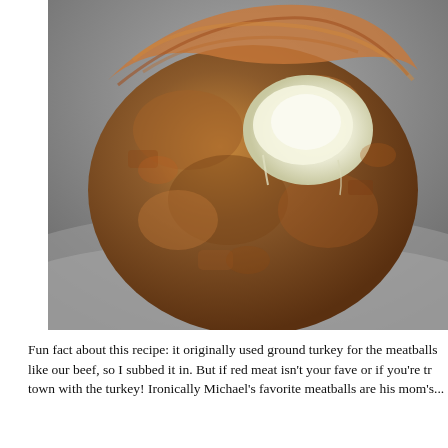[Figure (photo): Close-up photo of a meatball that has been bitten or cut open, revealing a melted white cheese center. The meatball has a browned, textured exterior and sits on what appears to be a metal baking tray. The image is taken from above at a slight angle.]
Fun fact about this recipe: it originally used ground turkey for the meatballs like our beef, so I subbed it in. But if red meat isn't your fave or if you're towns with the turkey! Ironically Michael's favorite meatballs are his mom's...